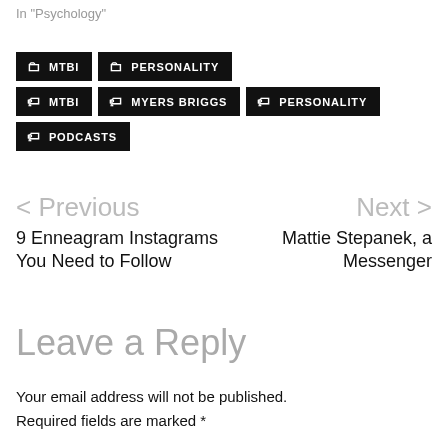In "Psychology"
MTBI  PERSONALITY
MTBI  MYERS BRIGGS  PERSONALITY
PODCASTS
< Previous
9 Enneagram Instagrams You Need to Follow
Next >
Mattie Stepanek, a Messenger
Leave a Reply
Your email address will not be published. Required fields are marked *